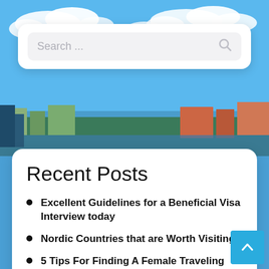[Figure (photo): Travel website screenshot showing a city skyline (Stockholm) with blue sky, clouds, and a search bar widget, followed by a Recent Posts sidebar widget]
Search ...
Recent Posts
Excellent Guidelines for a Beneficial Visa Interview today
Nordic Countries that are Worth Visiting
5 Tips For Finding A Female Traveling Companion
Department Of Finance And Business